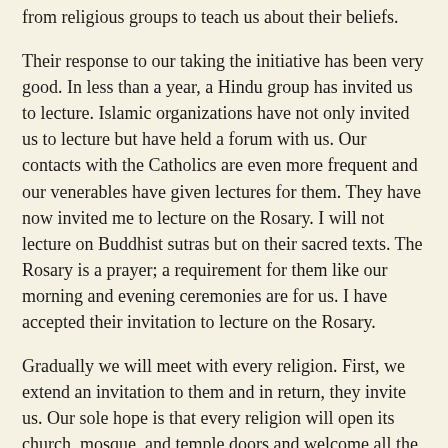from religious groups to teach us about their beliefs.
Their response to our taking the initiative has been very good. In less than a year, a Hindu group has invited us to lecture. Islamic organizations have not only invited us to lecture but have held a forum with us. Our contacts with the Catholics are even more frequent and our venerables have given lectures for them. They have now invited me to lecture on the Rosary. I will not lecture on Buddhist sutras but on their sacred texts. The Rosary is a prayer; a requirement for them like our morning and evening ceremonies are for us. I have accepted their invitation to lecture on the Rosary.
Gradually we will meet with every religion. First, we extend an invitation to them and in return, they invite us. Our sole hope is that every religion will open its church, mosque, and temple doors and welcome all the other religions to give teachings. This is an inevitable evolution of the twenty-first century. Our world is no longer comprised of small self-contained societies or locally restricted areas. Keeping to ourselves is wrong and is no longer an option.
The Buddha explained in the Lotus Sutra, that in the Dharma Ending Age we would need to propagate Mahayana Buddhism. He knew